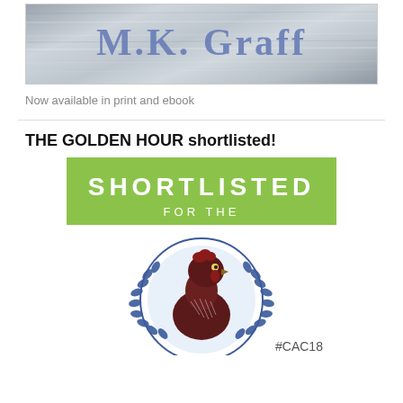[Figure (photo): Banner image with 'M.K. Graff' text in blue-gray serif font over a metallic/water texture background]
Now available in print and ebook
THE GOLDEN HOUR shortlisted!
[Figure (illustration): Shortlisted badge with green bar reading 'SHORTLISTED FOR THE' and a rooster/cockerel head illustration in dark red/brown inside a blue laurel wreath circle, with '#CAC18' text]